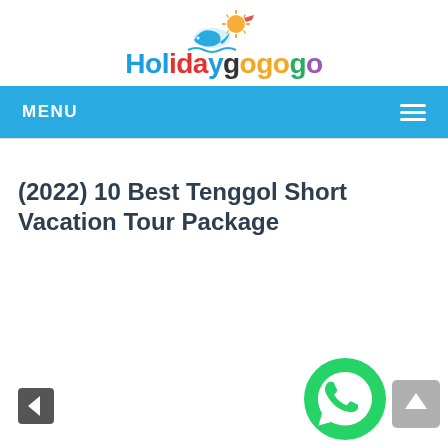Holidaygogogo
MENU
(2022) 10 Best Tenggol Short Vacation Tour Package
[Figure (logo): WhatsApp contact button (green circle with phone icon)]
[Figure (other): Scroll to top button (grey square with up arrow)]
[Figure (other): Previous navigation button (dark square with left arrow)]